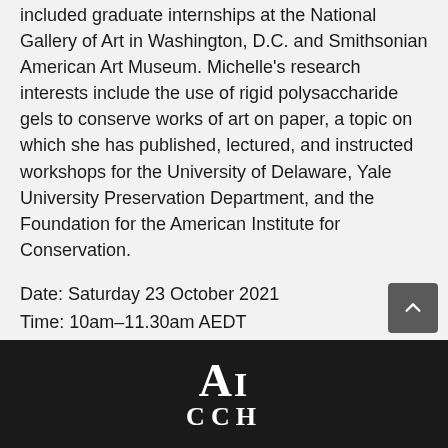included graduate internships at the National Gallery of Art in Washington, D.C. and Smithsonian American Art Museum. Michelle's research interests include the use of rigid polysaccharide gels to conserve works of art on paper, a topic on which she has published, lectured, and instructed workshops for the University of Delaware, Yale University Preservation Department, and the Foundation for the American Institute for Conservation.
Date: Saturday 23 October 2021
Time: 10am–11.30am AEDT
FREE event
Registrations have closed
[Figure (logo): Ai CCH logo in white on black background]